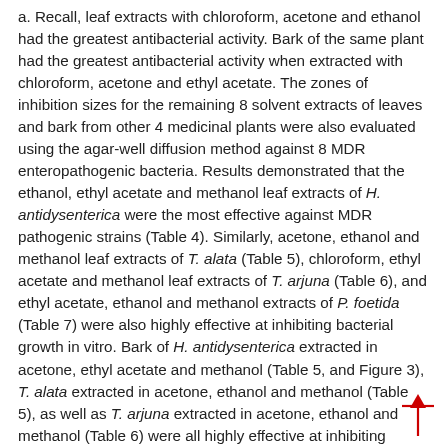a. Recall, leaf extracts with chloroform, acetone and ethanol had the greatest antibacterial activity. Bark of the same plant had the greatest antibacterial activity when extracted with chloroform, acetone and ethyl acetate. The zones of inhibition sizes for the remaining 8 solvent extracts of leaves and bark from other 4 medicinal plants were also evaluated using the agar-well diffusion method against 8 MDR enteropathogenic bacteria. Results demonstrated that the ethanol, ethyl acetate and methanol leaf extracts of H. antidysenterica were the most effective against MDR pathogenic strains (Table 4). Similarly, acetone, ethanol and methanol leaf extracts of T. alata (Table 5), chloroform, ethyl acetate and methanol leaf extracts of T. arjuna (Table 6), and ethyl acetate, ethanol and methanol extracts of P. foetida (Table 7) were also highly effective at inhibiting bacterial growth in vitro. Bark of H. antidysenterica extracted in acetone, ethyl acetate and methanol (Table 5, and Figure 3), T. alata extracted in acetone, ethanol and methanol (Table 5), as well as T. arjuna extracted in acetone, ethanol and methanol (Table 6) were all highly effective at inhibiting growth of 8 MDR enteropathogens in vitro.